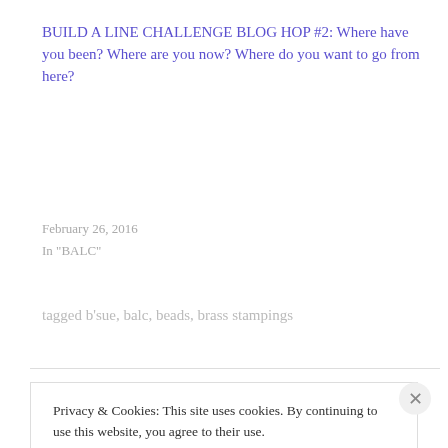BUILD A LINE CHALLENGE BLOG HOP #2: Where have you been? Where are you now? Where do you want to go from here?
February 26, 2016
In "BALC"
tagged b'sue, balc, beads, brass stampings
Privacy & Cookies: This site uses cookies. By continuing to use this website, you agree to their use.
To find out more, including how to control cookies, see here: Cookie Policy
Close and accept